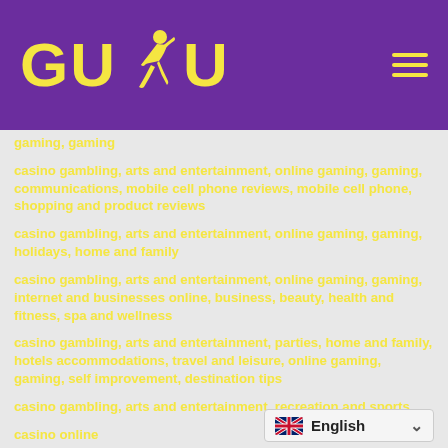[Figure (logo): GUDU logo with yellow text and runner icon on purple background, with hamburger menu icon]
gaming, gaming
casino gambling, arts and entertainment, online gaming, gaming, communications, mobile cell phone reviews, mobile cell phone, shopping and product reviews
casino gambling, arts and entertainment, online gaming, gaming, holidays, home and family
casino gambling, arts and entertainment, online gaming, gaming, internet and businesses online, business, beauty, health and fitness, spa and wellness
casino gambling, arts and entertainment, parties, home and family, hotels accommodations, travel and leisure, online gaming, gaming, self improvement, destination tips
casino gambling, arts and entertainment, recreation and sports
casino online